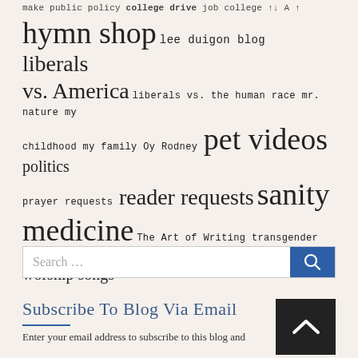make public policy college drive job college for A.I.
hymn shop lee duigon blog liberals vs. America liberals vs. the human race mr. nature my childhood my family Oy Rodney pet videos politics prayer requests reader requests sanity medicine The Art of Writing transgender movement worship songs
Search …
Subscribe To Blog Via Email
Enter your email address to subscribe to this blog and